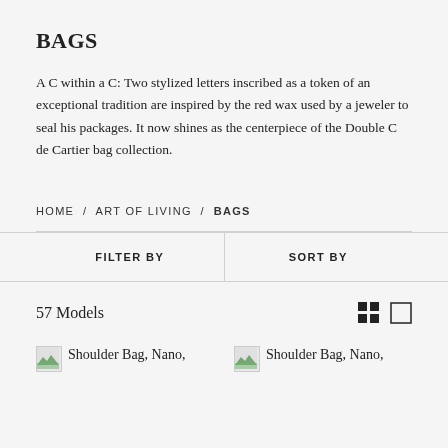BAGS
A C within a C: Two stylized letters inscribed as a token of an exceptional tradition are inspired by the red wax used by a jeweler to seal his packages. It now shines as the centerpiece of the Double C de Cartier bag collection.
HOME / ART OF LIVING / BAGS
FILTER BY
SORT BY
57 Models
[Figure (other): Grid view and single view toggle icons]
Shoulder Bag, Nano,
Shoulder Bag, Nano,